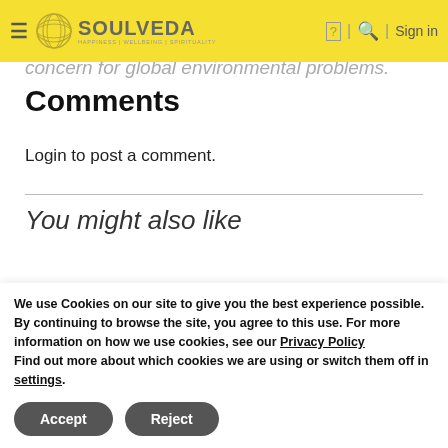Soulveda — HAPPINESS | WELLBEING | SPIRITUALITY
compassion and happiness. He is the first Nobel Laureate to be recognised for his concern for global environmental problems.
Comments
Login to post a comment.
You might also like
We use Cookies on our site to give you the best experience possible. By continuing to browse the site, you agree to this use. For more information on how we use cookies, see our Privacy Policy
Find out more about which cookies we are using or switch them off in settings.